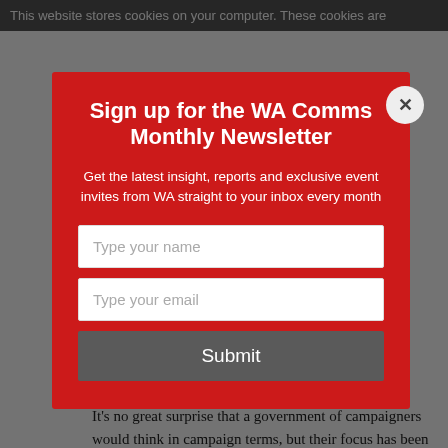This website stores cookies on your computer. These cookies are
Sign up for the WA Comms Monthly Newsletter
Get the latest insight, reports and exclusive event invites from WA straight to your inbox every month
Type your name
Type your email
Submit
long term
It's no great surprise that a government of campaigners would think in campaign terms, but their focus has been too short term and the